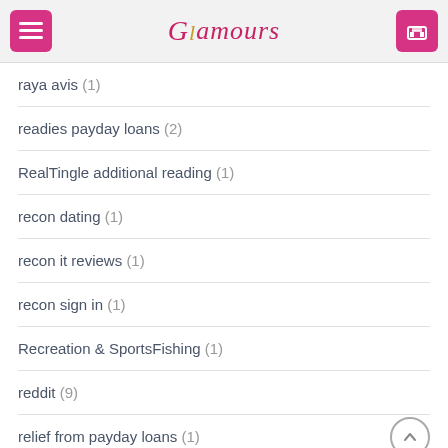Glamours
raya avis (1)
readies payday loans (2)
RealTingle additional reading (1)
recon dating (1)
recon it reviews (1)
recon sign in (1)
Recreation & SportsFishing (1)
reddit (9)
relief from payday loans (1)
religiose-datierung review (1)